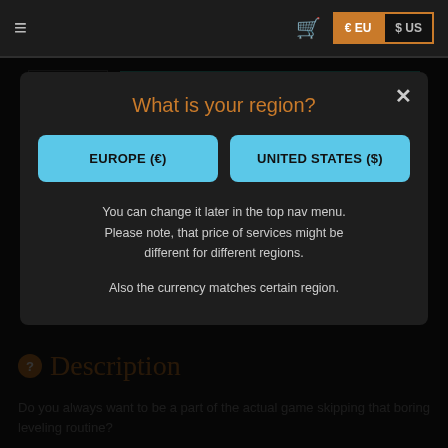≡  🛒  € EU  $ US
[Figure (screenshot): Add to cart row with quantity box showing 1 and teal ADD TO CART button]
D R...
What is your region?
EUROPE (€)   UNITED STATES ($)
You can change it later in the top nav menu. Please note, that price of services might be different for different regions.
Also the currency matches certain region.
❷ Description
Do you always want to be a part of the actual game skipping that boring leveling routine?